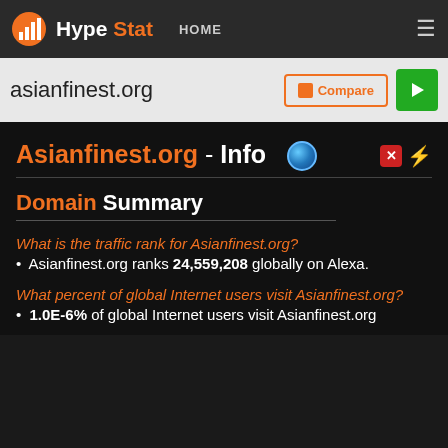HypeStat HOME
asianfinest.org
Asianfinest.org - Info
Domain Summary
What is the traffic rank for Asianfinest.org?
• Asianfinest.org ranks 24,559,208 globally on Alexa.
What percent of global Internet users visit Asianfinest.org?
• 1.0E-6% of global Internet users visit Asianfinest.org